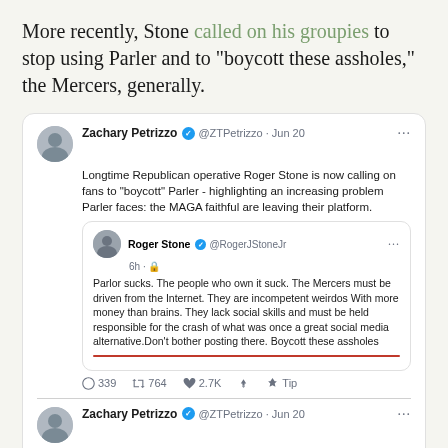More recently, Stone called on his groupies to stop using Parler and to “bycott these assholes,” the Mercers, generally.
[Figure (screenshot): Screenshot of two tweets by Zachary Petrizzo (@ZTPetrizzo) dated Jun 20. First tweet says: 'Longtime Republican operative Roger Stone is now calling on fans to "boycott" Parler - highlighting an increasing problem Parler faces: the MAGA faithful are leaving their platform.' It contains an embedded tweet from Roger Stone (@RogerJStoneJr) that reads: 'Parlor sucks. The people who own it suck. The Mercers must be driven from the Internet. They are incompetent weirdos With more money than brains. They lack social skills and must be held responsible for the crash of what was once a great social media alternative.Don’t bother posting there. Boycott these assholes'. First tweet has 339 comments, 764 retweets, 2.7K likes, and a Tip option. Second tweet says: 'Worth noting that Parler has become a trove of random Sean Hannity and Dan Bongino links that don’t show cover photos, leaving the site a glitchy and disorganized mess. Rather bleak these days on Parler!']
Stone is absolutely right that Bannon perjured himself, though the record shows that he perjured